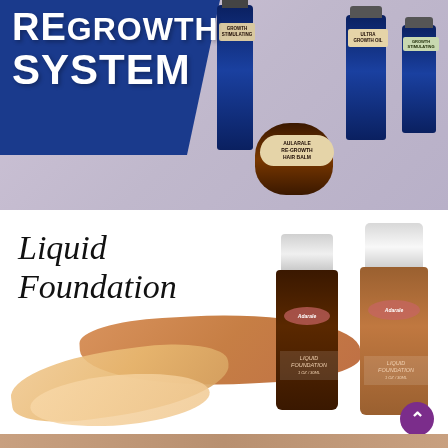[Figure (photo): Top banner showing hair regrowth system products including hair balm jar and growth oil bottles on a purple/mauve background, with blue banner on left showing 'REGROWTH SYSTEM' text]
REGROWTH SYSTEM
[Figure (photo): Liquid Foundation product advertisement showing two foundation bottles (dark and medium shades) with cosmetic swatches in tan and bronze tones on white background, with italic text 'Liquid Foundation']
Liquid Foundation